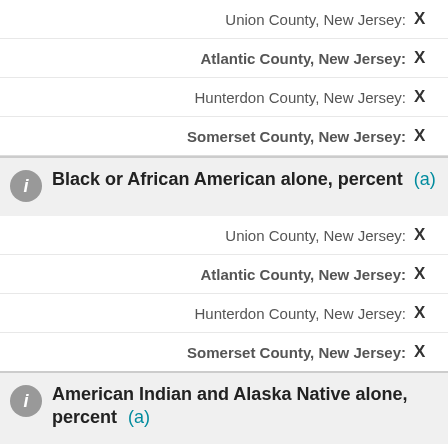Union County, New Jersey: X
Atlantic County, New Jersey: X
Hunterdon County, New Jersey: X
Somerset County, New Jersey: X
Black or African American alone, percent (a)
Union County, New Jersey: X
Atlantic County, New Jersey: X
Hunterdon County, New Jersey: X
Somerset County, New Jersey: X
American Indian and Alaska Native alone, percent (a)
Union County, New Jersey: X
Atlantic County, New Jersey: X
Hunterdon County, New Jersey: X
Somerset County, New Jersey: X